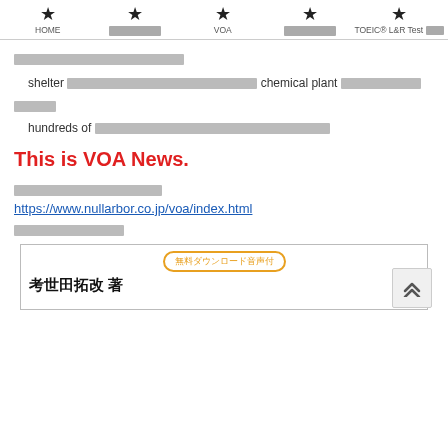HOME | [Japanese] | VOA | [Japanese] | TOEIC® L&R Test [Japanese]
[Japanese text] shelter [Japanese] chemical plant [Japanese] [Japanese]
hundreds of [Japanese text]
This is VOA News.
[Japanese text]
https://www.nullarbor.co.jp/voa/index.html
[Japanese text]
[Figure (other): Book advertisement banner with orange badge reading 無料ダウンロード音声付 and book title in Japanese 考世田拓改 著]